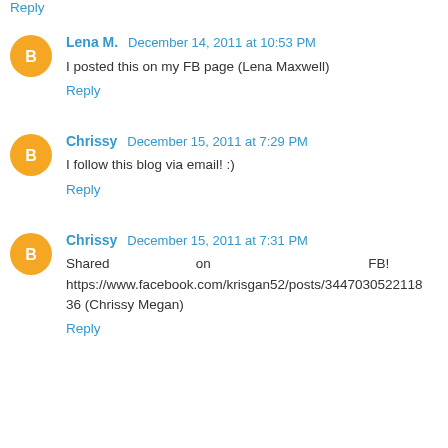Reply
Lena M.  December 14, 2011 at 10:53 PM
I posted this on my FB page (Lena Maxwell)
Reply
Chrissy  December 15, 2011 at 7:29 PM
I follow this blog via email! :)
Reply
Chrissy  December 15, 2011 at 7:31 PM
Shared on FB! https://www.facebook.com/krisgan52/posts/344703052211836 (Chrissy Megan)
Reply